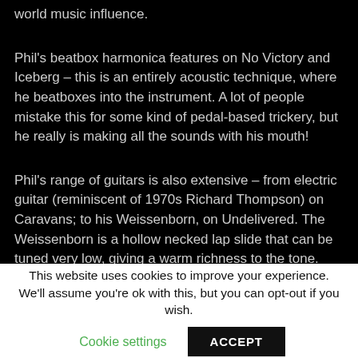world music influence.
Phil's beatbox harmonica features on No Victory and Iceberg – this is an entirely acoustic technique, where he beatboxes into the instrument. A lot of people mistake this for some kind of pedal-based trickery, but he really is making all the sounds with his mouth!
Phil's range of guitars is also extensive – from electric guitar (reminiscent of 1970s Richard Thompson) on Caravans; to his Weissenborn, on Undelivered. The Weissenborn is a hollow necked lap slide that can be tuned very low, giving a warm richness to the tone. Phil also uses a paintbrush
This website uses cookies to improve your experience. We'll assume you're ok with this, but you can opt-out if you wish.
Cookie settings
ACCEPT